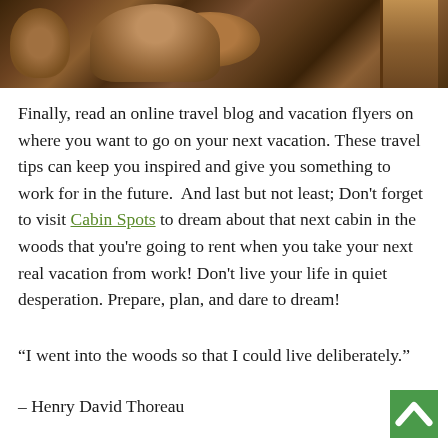[Figure (photo): Interior photo of a log cabin dining area with wooden round table, chairs, and hardwood floors]
Finally, read an online travel blog and vacation flyers on where you want to go on your next vacation. These travel tips can keep you inspired and give you something to work for in the future.  And last but not least; Don't forget to visit Cabin Spots to dream about that next cabin in the woods that you're going to rent when you take your next real vacation from work! Don't live your life in quiet desperation. Prepare, plan, and dare to dream!
“I went into the woods so that I could live deliberately.”
– Henry David Thoreau